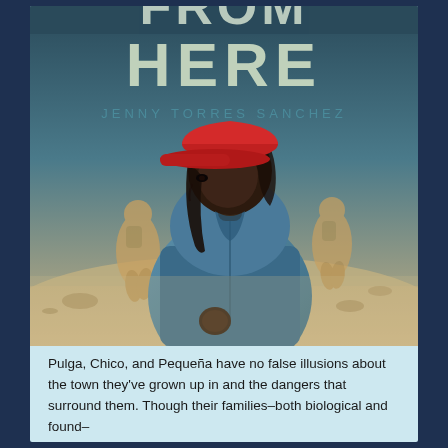[Figure (illustration): Book cover of 'We Are Not From Here' by Jenny Torres Sanchez. Large teal/dark gradient background with bold title text 'FROM HERE' (partially cropped at top showing 'FROM HERE'). Author name 'JENNY TORRES SANCHEZ' in spaced teal capital letters. Central illustrated figure: a young woman wearing a red baseball cap and blue denim jacket, looking back over her shoulder. In the background, two silhouetted figures walk away across a desert landscape rendered in sepia tones.]
Pulga, Chico, and Pequeña have no false illusions about the town they've grown up in and the dangers that surround them. Though their families–both biological and found–